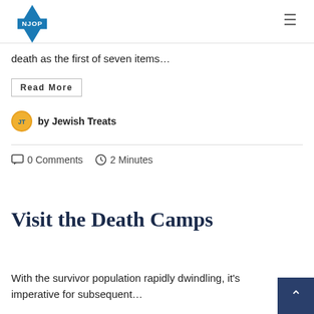NJOP
death as the first of seven items…
Read More
by Jewish Treats
0 Comments  2 Minutes
Visit the Death Camps
With the survivor population rapidly dwindling, it's imperative for subsequent…